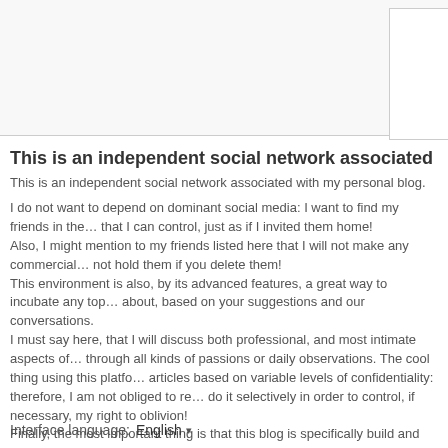[Figure (other): Top area with light gray background and a white box with border in the upper right corner]
This is an independent social network associated with my pers…
This is an independent social network associated with my personal blog.

I do not want to depend on dominant social media: I want to find my friends in the… that I can control, just as if I invited them home!
Also, I might mention to my friends listed here that I will not make any commercial… not hold them if you delete them!
This environment is also, by its advanced features, a great way to incubate any top… about, based on your suggestions and our conversations.
I must say here, that I will discuss both professional, and most intimate aspects of… through all kinds of passions or daily observations. The cool thing using this platfo… articles based on variable levels of confidentiality: therefore, I am not obliged to re… do it selectively in order to control, if necessary, my right to oblivion!
Finally, the most important thing is that this blog is specifically build and oriented… to relay here their own topics: so as you can see, you can be a blogger without beir…
Interface language:  English ▾